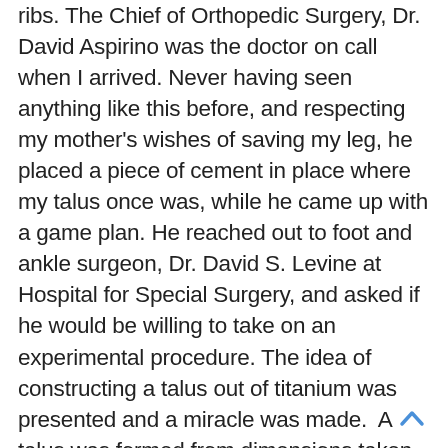ribs. The Chief of Orthopedic Surgery, Dr. David Aspirino was the doctor on call when I arrived. Never having seen anything like this before, and respecting my mother's wishes of saving my leg, he placed a piece of cement in place where my talus once was, while he came up with a game plan. He reached out to foot and ankle surgeon, Dr. David S. Levine at Hospital for Special Surgery, and asked if he would be willing to take on an experimental procedure. The idea of constructing a talus out of titanium was presented and a miracle was made.  A talus was formed from dimensions taken from my left ankle. I was about to undergo one of the first total talus replacements. On December 20, 2012 – I arrived at Hospital for Special Surgery – (I call it my Christmas Miracle) for my procedure.